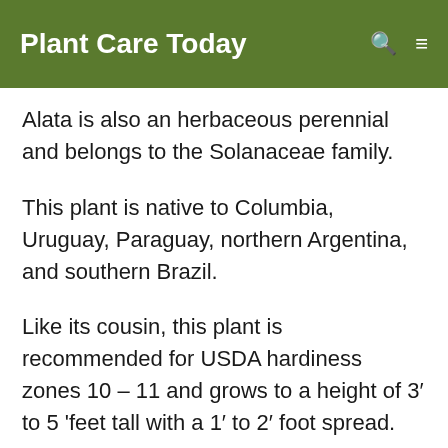Plant Care Today
Alata is also an herbaceous perennial and belongs to the Solanaceae family.
This plant is native to Columbia, Uruguay, Paraguay, northern Argentina, and southern Brazil.
Like its cousin, this plant is recommended for USDA hardiness zones 10 – 11 and grows to a height of 3′ to 5 'feet tall with a 1′ to 2′ foot spread.